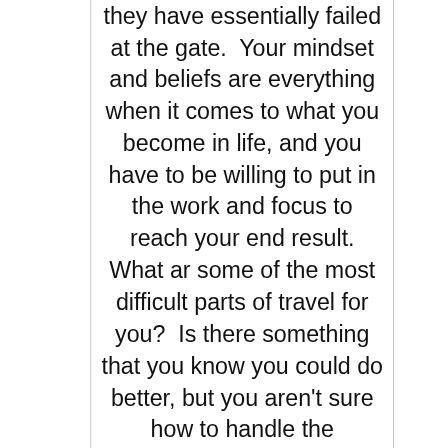they have essentially failed at the gate.  Your mindset and beliefs are everything when it comes to what you become in life, and you have to be willing to put in the work and focus to reach your end result.
What ar some of the most difficult parts of travel for you?  Is there something that you know you could do better, but you aren't sure how to handle the particular situation?  Do you have any habits that seem to work really well for you?  I would love it if you'd share your questions and comments below and will be sure to take the time to answer them.  If you have a question, most likely someone else was wondering the same thing!  Comment below!